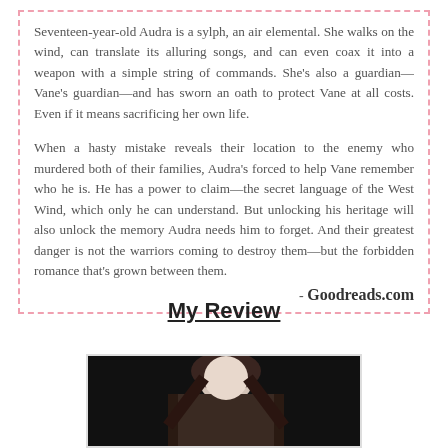Seventeen-year-old Audra is a sylph, an air elemental. She walks on the wind, can translate its alluring songs, and can even coax it into a weapon with a simple string of commands. She's also a guardian—Vane's guardian—and has sworn an oath to protect Vane at all costs. Even if it means sacrificing her own life.

When a hasty mistake reveals their location to the enemy who murdered both of their families, Audra's forced to help Vane remember who he is. He has a power to claim—the secret language of the West Wind, which only he can understand. But unlocking his heritage will also unlock the memory Audra needs him to forget. And their greatest danger is not the warriors coming to destroy them—but the forbidden romance that's grown between them.
- Goodreads.com
My Review
[Figure (photo): Black and white photograph of a young woman with long dark hair, looking downward]